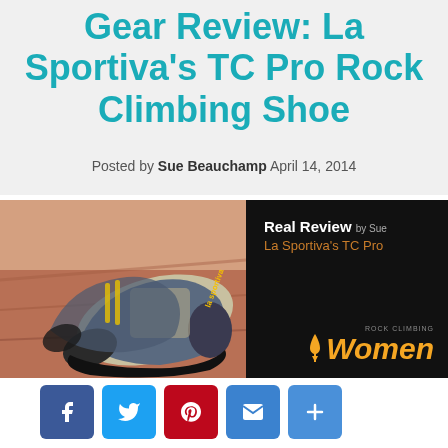Gear Review: La Sportiva's TC Pro Rock Climbing Shoe
Posted by Sue Beauchamp April 14, 2014
[Figure (photo): Left half: photo of La Sportiva TC Pro rock climbing shoes on red rock surface. Right half: black panel with 'Real Review by Sue / La Sportiva's TC Pro' text and Rock Climbing Women logo in orange.]
[Figure (infographic): Social sharing buttons row: Facebook (blue), Twitter (blue), Pinterest (red), Email (blue), More/Share (blue)]